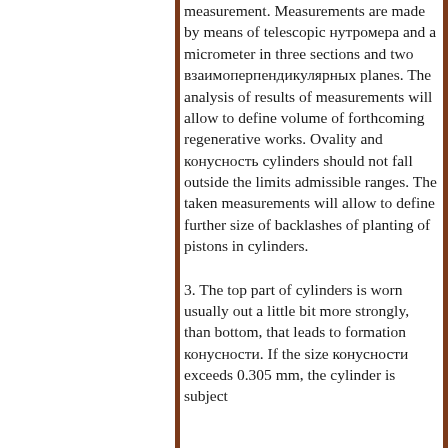measurement. Measurements are made by means of telescopic нутромера and a micrometer in three sections and two взаимоперпендикулярных planes. The analysis of results of measurements will allow to define volume of forthcoming regenerative works. Ovality and конусность cylinders should not fall outside the limits admissible ranges. The taken measurements will allow to define further size of backlashes of planting of pistons in cylinders.
3. The top part of cylinders is worn usually out a little bit more strongly, than bottom, that leads to formation конусности. If the size конусности exceeds 0.305 mm, the cylinder is subject...